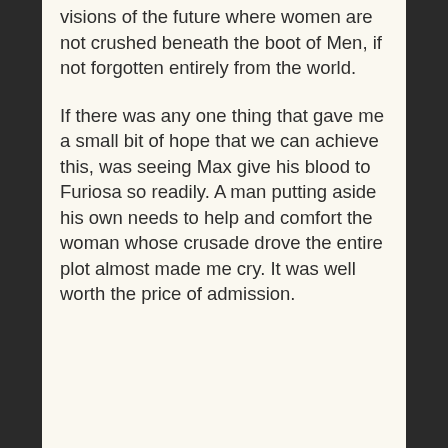visions of the future where women are not crushed beneath the boot of Men, if not forgotten entirely from the world.

If there was any one thing that gave me a small bit of hope that we can achieve this, was seeing Max give his blood to Furiosa so readily. A man putting aside his own needs to help and comfort the woman whose crusade drove the entire plot almost made me cry. It was well worth the price of admission.